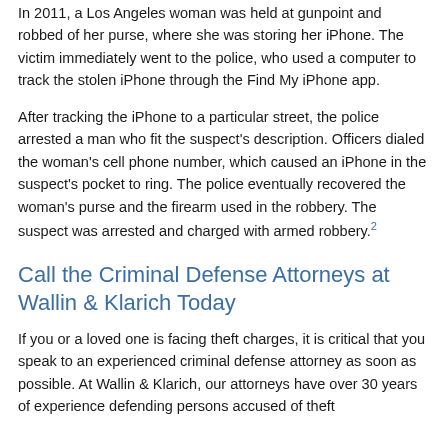In 2011, a Los Angeles woman was held at gunpoint and robbed of her purse, where she was storing her iPhone. The victim immediately went to the police, who used a computer to track the stolen iPhone through the Find My iPhone app.
After tracking the iPhone to a particular street, the police arrested a man who fit the suspect's description. Officers dialed the woman's cell phone number, which caused an iPhone in the suspect's pocket to ring. The police eventually recovered the woman's purse and the firearm used in the robbery. The suspect was arrested and charged with armed robbery.[2]
Call the Criminal Defense Attorneys at Wallin & Klarich Today
If you or a loved one is facing theft charges, it is critical that you speak to an experienced criminal defense attorney as soon as possible. At Wallin & Klarich, our attorneys have over 30 years of experience defending persons accused of theft